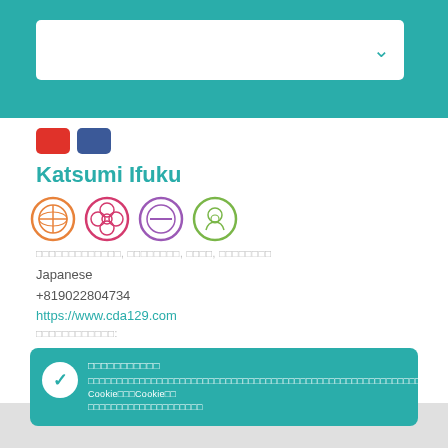[Figure (screenshot): Teal top bar with white dropdown box and chevron arrow]
[Figure (screenshot): Social media icon buttons: red (YouTube) and blue (Facebook)]
Katsumi Ifuku
[Figure (screenshot): Four circular badge icons in orange, pink/red, purple, and green]
□□□□□□□□□□□□□, □□□□□□□□, □□□□, □□□□□□□□
Japanese
+819022804734
https://www.cda129.com
□□□□□□□□□□□□:
□□□□□□□□□□□
□□□□□□□□□□□□□□□□□□□□□□□□□□□□□□□□□□□□□□□□□□□□□□□□□□□□□□□□□□□
□□□□□□□□□□□□□□□□□□□□□□□□□□□□□□□□□□ Cookie□□□Cookie□□
□□□□□□□□□□□□□□□□□□□□
□□□□□□□□□□□
□□□□□□□□□□□□□□□□□□□□ □□□□□□□ □ □□□□.
In this seminar, we direct our attention within and discover beliefs that we have